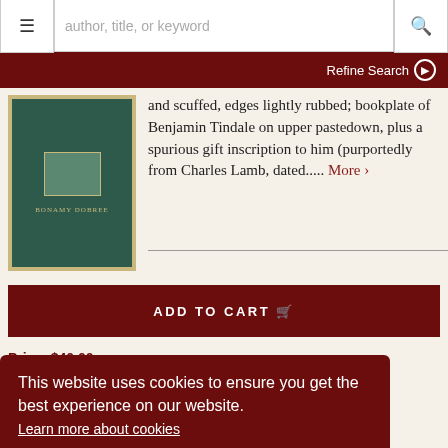author, title, or keyword
Refine Search
and scuffed, edges lightly rubbed; bookplate of Benjamin Tindale on upper pastedown, plus a spurious gift inscription to him (purportedly from Charles Lamb, dated..... More >
ADD TO CART
Price: $40.00
Ask a Question
This website uses cookies to ensure you get the best experience on our website. Learn more about cookies
ACCEPT COOKIES
[Figure (photo): Book cover for a volume with author name BONAMY DOBREE on dark green cover with gold border]
Grierson, Sir Herbert
THE ENGLISH BIBLE